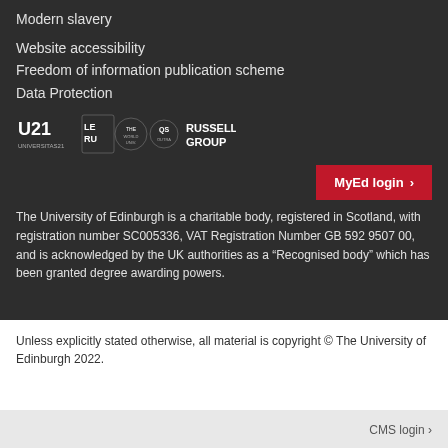Modern slavery
Website accessibility
Freedom of information publication scheme
Data Protection
[Figure (logo): University affiliation logos: Universitas 21 (U21), LE RU, Times Higher Education global ranking, QS World University Rankings, Russell Group]
MyEd login ›
The University of Edinburgh is a charitable body, registered in Scotland, with registration number SC005336, VAT Registration Number GB 592 9507 00, and is acknowledged by the UK authorities as a "Recognised body" which has been granted degree awarding powers.
Unless explicitly stated otherwise, all material is copyright © The University of Edinburgh 2022.
CMS login ›